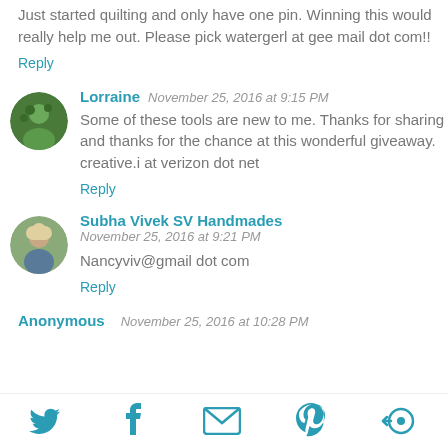Just started quilting and only have one pin. Winning this would really help me out. Please pick watergerl at gee mail dot com!!
Reply
Lorraine   November 25, 2016 at 9:15 PM
Some of these tools are new to me. Thanks for sharing and thanks for the chance at this wonderful giveaway. creative.i at verizon dot net
Reply
Subha Vivek SV Handmades   November 25, 2016 at 9:21 PM
Nancyviv@gmail dot com
Reply
Anonymous   November 25, 2016 at 10:28 PM